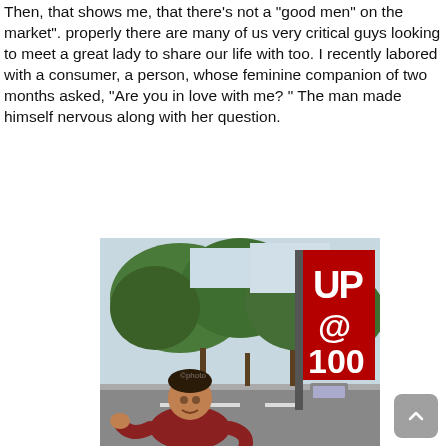Then, that shows me, that there's not a "good men" on the market". properly there are many of us very critical guys looking to meet a great lady to share our life with too. I recently labored with a consumer, a person, whose feminine companion of two months asked, "Are you in love with me? " The man made himself nervous along with her question.
[Figure (photo): A man in a red t-shirt making a hand gesture standing on a road beside trees and a large red banner sign with the text 'UP @ 100']